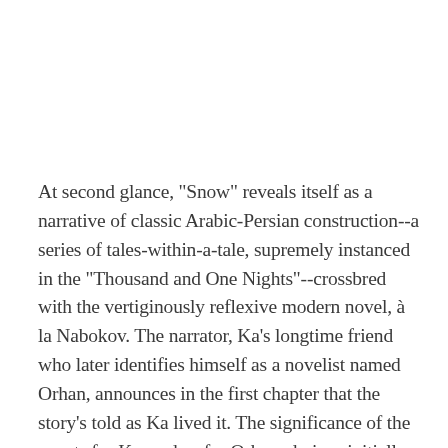At second glance, "Snow" reveals itself as a narrative of classic Arabic-Persian construction--a series of tales-within-a-tale, supremely instanced in the "Thousand and One Nights"--crossbred with the vertiginously reflexive modern novel, à la Nabokov. The narrator, Ka's longtime friend who later identifies himself as a novelist named Orhan, announces in the first chapter that the story's told as Ka lived it. The significance of the events for Ka, and so for Orhan, derives initially from the depth and quality of Ka's human encounters as he pursues both love, in the person of the beautiful Ipek, and his